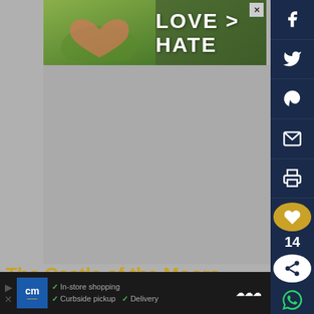[Figure (photo): Top banner advertisement with hands forming a heart shape against a green background, text 'LOVE > HATE']
[Figure (other): Right sidebar with social media share buttons (Facebook, Twitter, Pinterest, Email, Print), a heart/like button showing 14 likes, a share icon, and WhatsApp icon on dark navy background]
The Castle of the Moors (Castelo dos Mouros)
[Figure (photo): Partial photo of forested hillside, green trees, below the article title]
Before returning to the town, stop at the first
[Figure (photo): What's Next panel showing a thumbnail and text 'Portugal Itinerary - 10...' with a dark navy header 'WHAT'S NEXT →']
[Figure (other): Bottom advertisement for CM (Curbside Marketplace) with checkmarks listing: In-store shopping, Curbside pickup, Delivery; includes logo and navigation arrow icon]
11